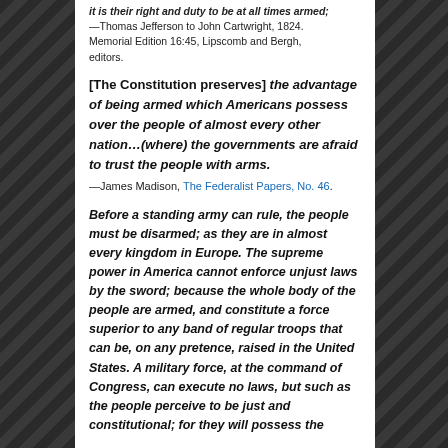it is their right and duty to be at all times armed; —Thomas Jefferson to John Cartwright, 1824. Memorial Edition 16:45, Lipscomb and Bergh, editors.
[The Constitution preserves] the advantage of being armed which Americans possess over the people of almost every other nation…(where) the governments are afraid to trust the people with arms.
—James Madison, The Federalist Papers, No. 46.
Before a standing army can rule, the people must be disarmed; as they are in almost every kingdom in Europe. The supreme power in America cannot enforce unjust laws by the sword; because the whole body of the people are armed, and constitute a force superior to any band of regular troops that can be, on any pretence, raised in the United States. A military force, at the command of Congress, can execute no laws, but such as the people perceive to be just and constitutional; for they will possess the